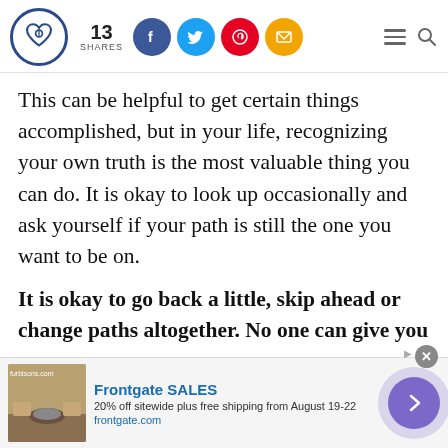[Figure (logo): Website logo: circular blue border with a heart/infinity knot symbol inside]
13 SHARES
[Figure (infographic): Social share buttons: Facebook (blue circle), Twitter (light blue circle), Pinterest (red circle), Email (yellow/gold circle)]
[Figure (other): Hamburger menu icon and search (magnifying glass) icon]
This can be helpful to get certain things accomplished, but in your life, recognizing your own truth is the most valuable thing you can do. It is okay to look up occasionally and ask yourself if your path is still the one you want to be on.
It is okay to go back a little, skip ahead or change paths altogether. No one can give you
[Figure (other): Advertisement banner: Frontgate SALES - 20% off sitewide plus free shipping from August 19-22. frontgate.com. Shows outdoor furniture with fire pit image on left, arrow button on right.]